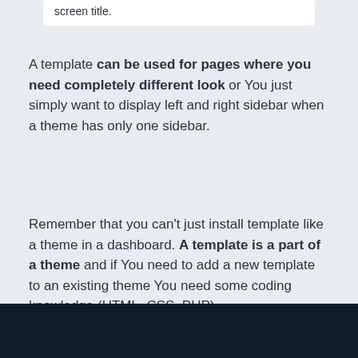screen title.
A template can be used for pages where you need completely different look or You just simply want to display left and right sidebar when a theme has only one sidebar.
Remember that you can't just install template like a theme in a dashboard. A template is a part of a theme and if You need to add a new template to an existing theme You need some coding knowledge (HTML, CSS, PHP).
Like it? Please share, thanks :)